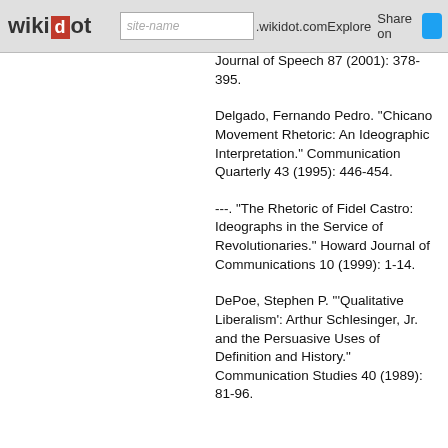wikidot | site-name | .wikidot.com | Explore | Share on [Twitter]
Journal of Speech 87 (2001): 378-395.
Delgado, Fernando Pedro. "Chicano Movement Rhetoric: An Ideographic Interpretation." Communication Quarterly 43 (1995): 446-454.
---. "The Rhetoric of Fidel Castro: Ideographs in the Service of Revolutionaries." Howard Journal of Communications 10 (1999): 1-14.
DePoe, Stephen P. "'Qualitative Liberalism': Arthur Schlesinger, Jr. and the Persuasive Uses of Definition and History." Communication Studies 40 (1989): 81-96.